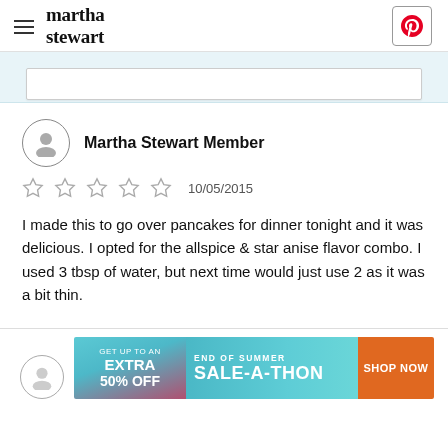martha stewart
Martha Stewart Member
10/05/2015
I made this to go over pancakes for dinner tonight and it was delicious. I opted for the allspice & star anise flavor combo. I used 3 tbsp of water, but next time would just use 2 as it was a bit thin.
[Figure (infographic): End of Summer Sale-A-Thon ad banner: GET UP TO AN EXTRA 50% OFF | END OF SUMMER SALE-A-THON | SHOP NOW]